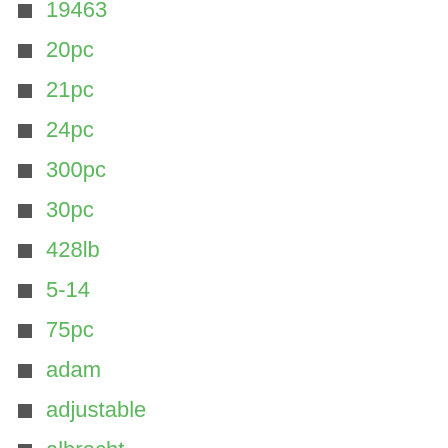19463
20pc
21pc
24pc
300pc
30pc
428lb
5-14
75pc
adam
adjustable
albrecht
aloris
amazing
american
ames
ammco
another
antique
armstrong
atlas
atlascraftsman
axis